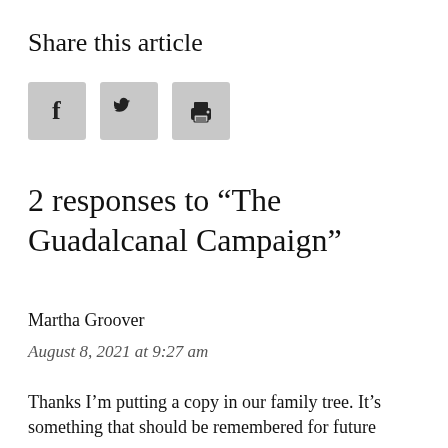Share this article
[Figure (other): Row of three social sharing buttons: Facebook (f), Twitter (bird), and Print (printer) icons on grey square backgrounds]
2 responses to "The Guadalcanal Campaign"
Martha Groover
August 8, 2021 at 9:27 am
Thanks I'm putting a copy in our family tree. It's something that should be remembered for future